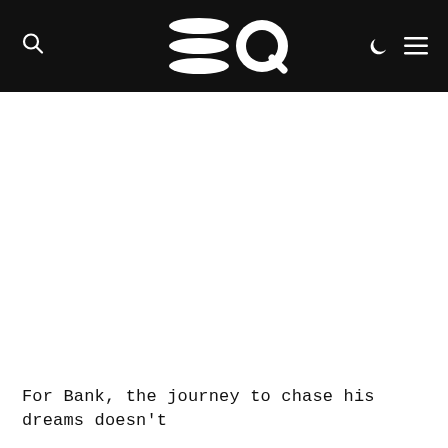EQ logo with search, moon, and menu icons
For Bank, the journey to chase his dreams doesn't